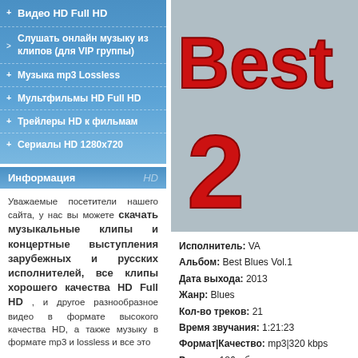+ Видео HD Full HD
> Слушать онлайн музыку из клипов (для VIP группы)
+ Музыка mp3 Lossless
+ Мультфильмы HD Full HD
+ Трейлеры HD к фильмам
+ Сериалы HD 1280x720
Информация HD
Уважаемые посетители нашего сайта, у нас вы можете скачать музыкальные клипы и концертные выступления зарубежных и русских исполнителей, все клипы хорошего качества HD Full HD , и другое разнообразное видео в формате высокого качества HD, а также музыку в формате mp3 и lossless и все это
[Figure (illustration): Album cover with 'Best' text in red and large number '2' on grey background]
Исполнитель: VA
Альбом: Best Blues Vol.1
Дата выхода: 2013
Жанр: Blues
Кол-во треков: 21
Время звучания: 1:21:23
Формат|Качество: mp3|320 kbps
Размер: 186 мб